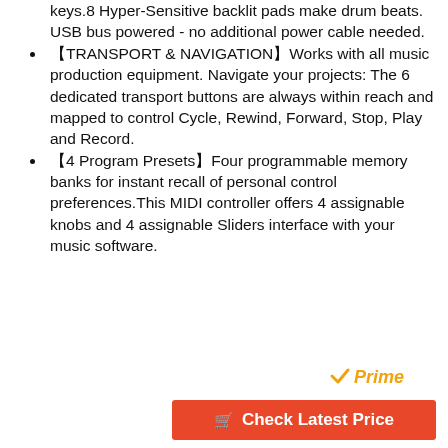keys.8 Hyper-Sensitive backlit pads make drum beats. USB bus powered - no additional power cable needed.
【TRANSPORT & NAVIGATION】Works with all music production equipment. Navigate your projects: The 6 dedicated transport buttons are always within reach and mapped to control Cycle, Rewind, Forward, Stop, Play and Record.
【4 Program Presets】Four programmable memory banks for instant recall of personal control preferences.This MIDI controller offers 4 assignable knobs and 4 assignable Sliders interface with your music software.
[Figure (logo): Amazon Prime logo with checkmark]
[Figure (other): Red 'Check Latest Price' button with cart icon]